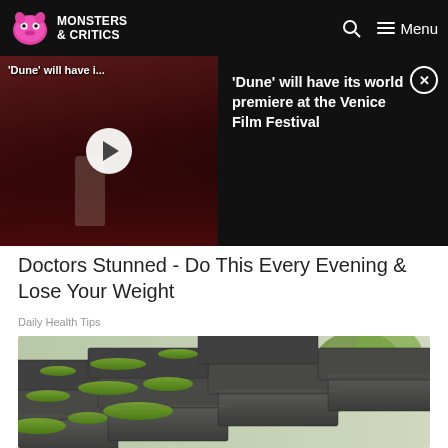MONSTERS & CRITICS | Menu
[Figure (screenshot): Video thumbnail showing a person on a red carpet at what appears to be a film festival, with crowd in background. Label reads 'Dune will have i...']
'Dune' will have its world premiere at the Venice Film Festival
Doctors Stunned - Do This Every Evening & Lose Your Weight
Daily Health Tips
[Figure (photo): Close-up photo of roof shingles covered in green moss, with green leafy trees visible in the background]